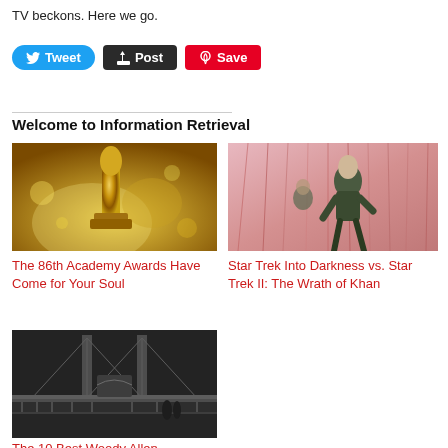TV beckons. Here we go.
[Figure (screenshot): Social sharing buttons: Tweet (blue), Post (dark), Save (red/Pinterest)]
Welcome to Information Retrieval
[Figure (photo): Gold Oscar statuette close-up]
The 86th Academy Awards Have Come for Your Soul
[Figure (photo): Scene from Star Trek Into Darkness - person running through pink/red foliage]
Star Trek Into Darkness vs. Star Trek II: The Wrath of Khan
[Figure (photo): Black and white photo of a bridge at night - Woody Allen style]
The 10 Best Woody Allen